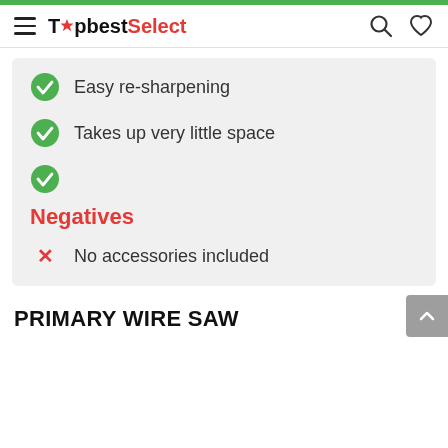TopbestSelect
Easy re-sharpening
Takes up very little space
Negatives
No accessories included
PRIMARY WIRE SAW